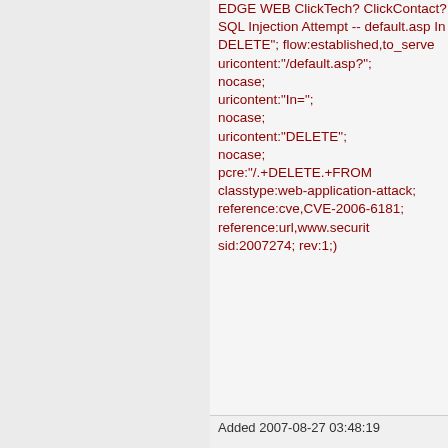EDGE WEB ClickTech? ClickContact? SQL Injection Attempt -- default.asp In DELETE"; flow:established,to_server; uricontent:"/default.asp?"; nocase; uricontent:"In="; nocase; uricontent:"DELETE"; nocase; pcre:"/.+DELETE.+FROM classtype:web-application-attack; reference:cve,CVE-2006-6181; reference:url,www.securit sid:2007274; rev:1;)
Added 2007-08-27 03:48:19